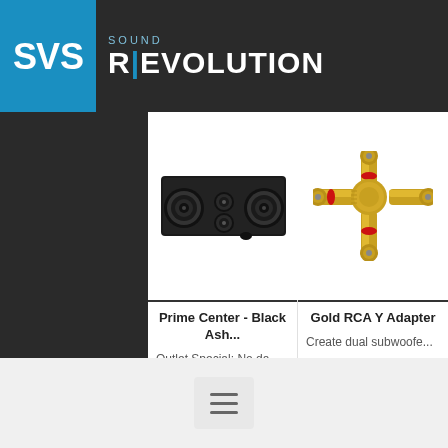[Figure (logo): SVS Sound Revolution logo with blue background box containing SVS text and 'SOUND R|EVOLUTION' brand name]
[Figure (photo): SVS Prime Center speaker in Black Ash finish — a black rectangular center channel speaker with multiple drivers]
Prime Center - Black Ash...
Outlet Special: No da...
[Figure (photo): Gold RCA Y Adapter — gold-plated RCA connector adapter with red accent]
Gold RCA Y Adapter
Create dual subwoofe...
[Figure (infographic): Hamburger menu icon (three horizontal lines) on a light gray rounded rectangle button]